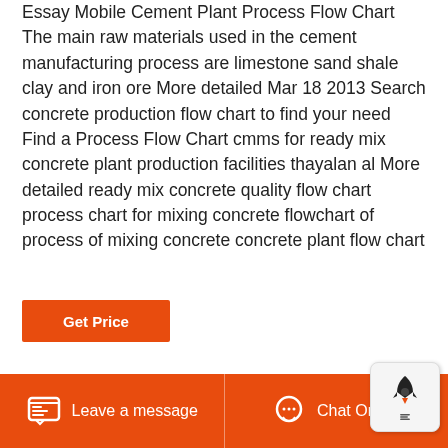Essay Mobile Cement Plant Process Flow Chart The main raw materials used in the cement manufacturing process are limestone sand shale clay and iron ore More detailed Mar 18 2013 Search concrete production flow chart to find your need Find a Process Flow Chart cmms for ready mix concrete plant production facilities thayalan al More detailed ready mix concrete quality flow chart process chart for mixing concrete flowchart of process of mixing concrete concrete plant flow chart
[Figure (other): Orange 'Get Price' button]
[Figure (photo): Photo of industrial structure against blue sky, showing a pale/tan colored pole or column]
[Figure (other): Popup with rocket icon]
Leave a message   Chat Online